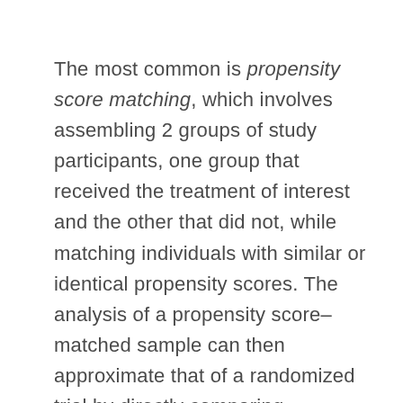The most common is propensity score matching, which involves assembling 2 groups of study participants, one group that received the treatment of interest and the other that did not, while matching individuals with similar or identical propensity scores. The analysis of a propensity score–matched sample can then approximate that of a randomized trial by directly comparing outcomes between individuals who received the